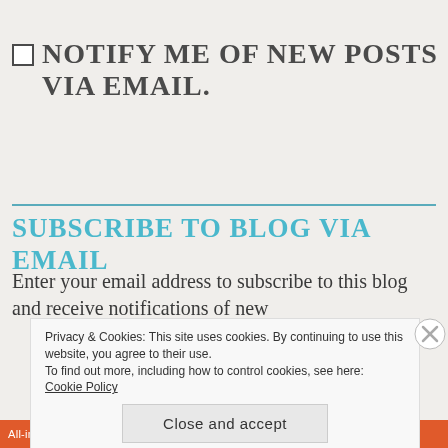NOTIFY ME OF NEW POSTS VIA EMAIL.
SUBSCRIBE TO BLOG VIA EMAIL
Enter your email address to subscribe to this blog and receive notifications of new p...
Privacy & Cookies: This site uses cookies. By continuing to use this website, you agree to their use.
To find out more, including how to control cookies, see here:
Cookie Policy
Close and accept